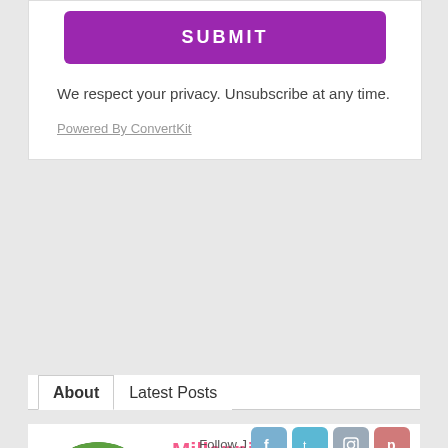SUBMIT
We respect your privacy. Unsubscribe at any time.
Powered By ConvertKit
About   Latest Posts
[Figure (photo): Circular profile photo of a woman with long dark hair wearing a brown jacket, smiling, with green foliage background]
Millennial Boss
Follow J
Julie paid off nearly $100k of debt and is on her way to financial independence. She is the creator of the Make Money with Printables side hustle course where she teaches people how to sell printables on Etsy and blog as a side hustle.